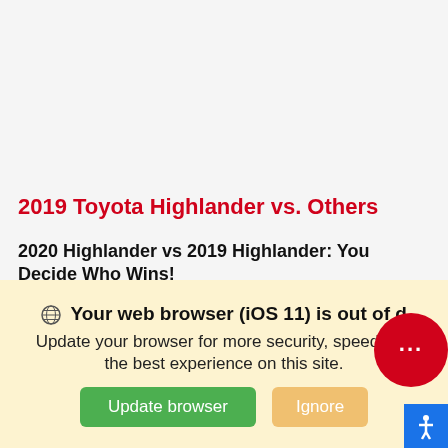2019 Toyota Highlander vs. Others
2020 Highlander vs 2019 Highlander: You Decide Who Wins!
Compare the 2019 Toyota Highlander to the 2020
We use cookies to optimize our website and our servi
Cookie Policy   Privacy Statement
🌐 Your web browser (iOS 11) is out of d
Update your browser for more security, speed and the best experience on this site.
Update browser   Ignore